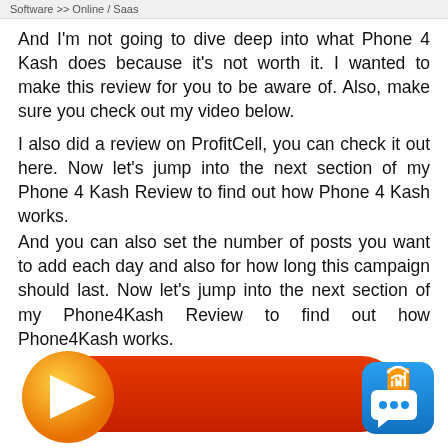Software >> Online / Saas
And I'm not going to dive deep into what Phone 4 Kash does because it's not worth it. I wanted to make this review for you to be aware of. Also, make sure you check out my video below.
I also did a review on ProfitCell, you can check it out here. Now let's jump into the next section of my Phone 4 Kash Review to find out how Phone 4 Kash works.
And you can also set the number of posts you want to add each day and also for how long this campaign should last. Now let's jump into the next section of my Phone4Kash Review to find out how Phone4Kash works.
[Figure (illustration): Red rounded rectangle button with orange circle arrow on the left and a blue chat icon on the right]